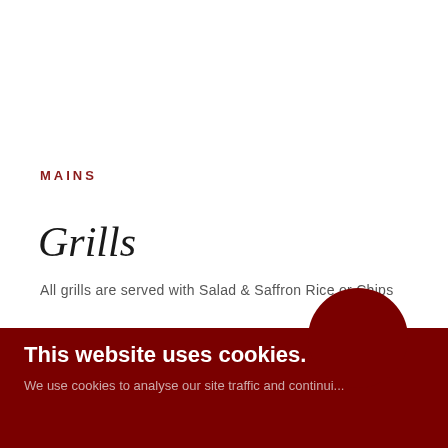MAINS
Grills
All grills are served with Salad & Saffron Rice or Chips
Meze Grill
16.95
Lamb chop, chicken skewer, lamb skewer, kofta, m...
This website uses cookies.
We use cookies to analyse our site traffic andontinue...